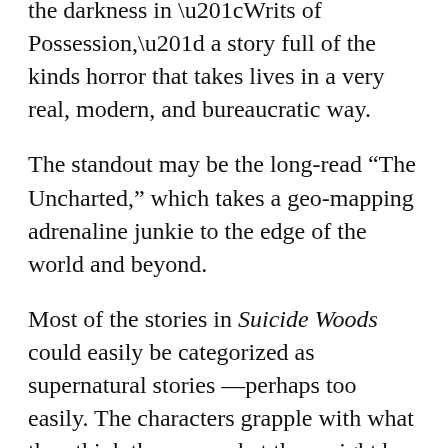the darkness in “Writs of Possession,” a story full of the kinds horror that takes lives in a very real, modern, and bureaucratic way.
The standout may be the long-read “The Uncharted,” which takes a geo-mapping adrenaline junkie to the edge of the world and beyond.
Most of the stories in Suicide Woods could easily be categorized as supernatural stories—perhaps too easily. The characters grapple with what they think they see, what they might be experiencing, with the dark things that might be found right here on earth. Read before bedtime at your own risk.